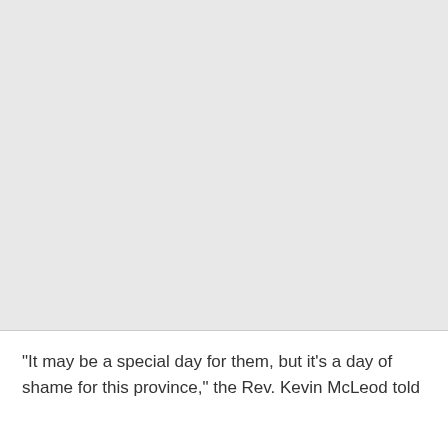[Figure (photo): Large light gray rectangular image placeholder occupying the upper portion of the page.]
"It may be a special day for them, but it's a day of shame for this province," the Rev. Kevin McLeod told